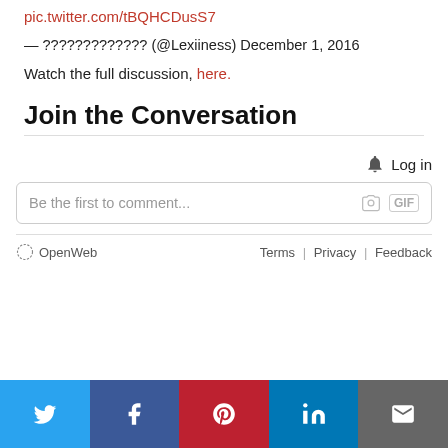pic.twitter.com/tBQHCDusS7
— ?????????????  (@Lexiiness) December 1, 2016
Watch the full discussion, here.
Join the Conversation
[Figure (screenshot): Comment widget with Log in button, comment input box with camera and GIF icons, and OpenWeb footer with Terms, Privacy, Feedback links]
[Figure (infographic): Social share bar with Twitter, Facebook, Pinterest, LinkedIn, and Email buttons]